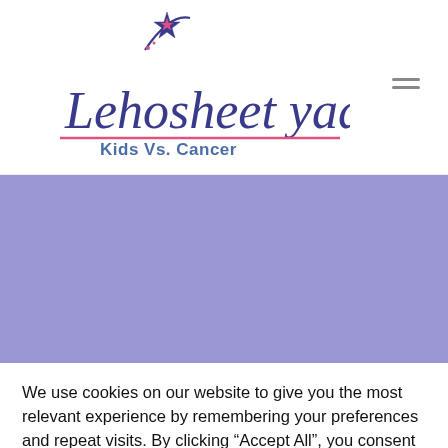[Figure (logo): Lehosheet Yad logo with a shooting star graphic and cursive text 'Lehosheet yad' with subtitle 'Kids Vs. Cancer']
[Figure (photo): Purple/lavender hero section banner with partial text at bottom: 'The "Lehosheet Yad" foundation is a cancer patient']
We use cookies on our website to give you the most relevant experience by remembering your preferences and repeat visits. By clicking “Accept All”, you consent to the use of ALL the cookies. However, you may visit "Cookie Settings" to provide a controlled consent.
Cookie Settings
Accept All